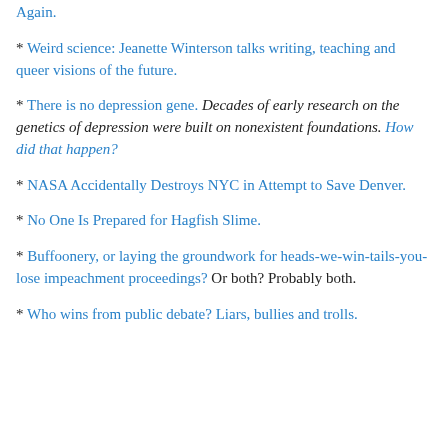Again.
* Weird science: Jeanette Winterson talks writing, teaching and queer visions of the future.
* There is no depression gene. Decades of early research on the genetics of depression were built on nonexistent foundations. How did that happen?
* NASA Accidentally Destroys NYC in Attempt to Save Denver.
* No One Is Prepared for Hagfish Slime.
* Buffoonery, or laying the groundwork for heads-we-win-tails-you-lose impeachment proceedings? Or both? Probably both.
* Who wins from public debate? Liars, bullies and trolls.